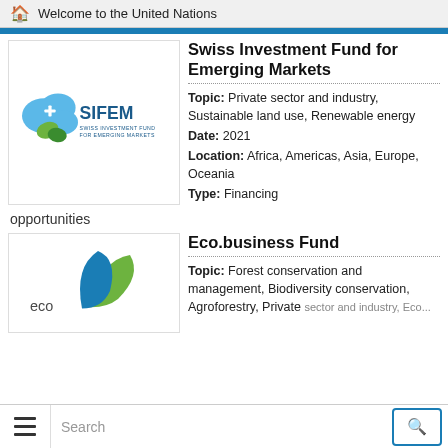Welcome to the United Nations
Swiss Investment Fund for Emerging Markets
Topic: Private sector and industry, Sustainable land use, Renewable energy
Date: 2021
Location: Africa, Americas, Asia, Europe, Oceania
Type: Financing
[Figure (logo): SIFEM - Swiss Investment Fund for Emerging Markets logo with blue and green circular shapes]
opportunities
Eco.business Fund
Topic: Forest conservation and management, Biodiversity conservation, Agroforestry, Private sector and industry, Eco...
[Figure (logo): eco.business Fund logo with green and blue curved leaf shapes]